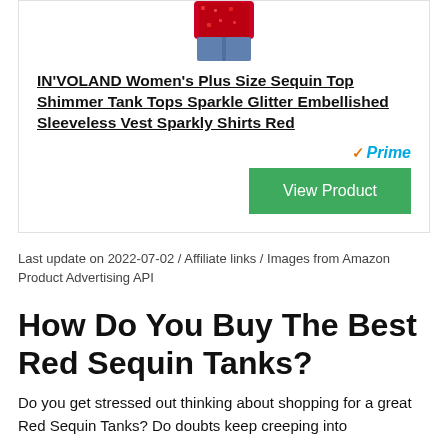[Figure (photo): Partial view of a woman wearing a red sequin tank top with blue jeans, cropped at the torso]
IN'VOLAND Women's Plus Size Sequin Top Shimmer Tank Tops Sparkle Glitter Embellished Sleeveless Vest Sparkly Shirts Red
[Figure (logo): Amazon Prime badge with orange checkmark and blue Prime text]
View Product
Last update on 2022-07-02 / Affiliate links / Images from Amazon Product Advertising API
How Do You Buy The Best Red Sequin Tanks?
Do you get stressed out thinking about shopping for a great Red Sequin Tanks? Do doubts keep creeping into